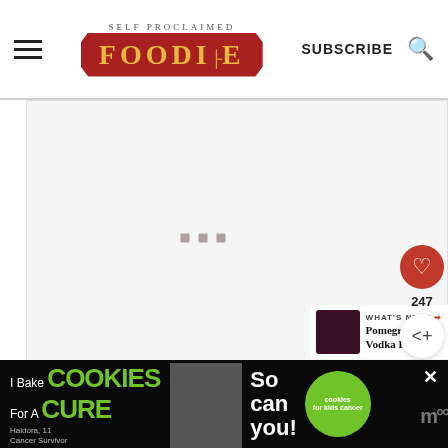SELF PROCLAIMED FOODIE — SUBSCRIBE
[Figure (other): Advertisement placeholder with three small gray squares in the center]
[Figure (photo): Pomegranate Vodka Punch thumbnail image — dark red drink]
WHAT'S NEXT → Pomegranate Vodka Punch
Instructions
1. Make your simple syrup by combining equal
[Figure (other): Bottom banner advertisement: I Bake COOKIES For A CURE — Haldora, 11 Cancer Survivor — So can you! — cookies for kids cancer]